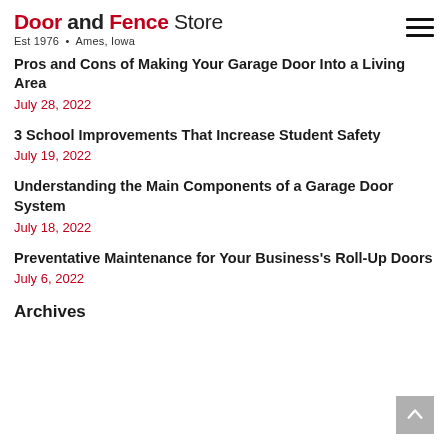Door and Fence Store Est 1976 • Ames, Iowa
Pros and Cons of Making Your Garage Door Into a Living Area
July 28, 2022
3 School Improvements That Increase Student Safety
July 19, 2022
Understanding the Main Components of a Garage Door System
July 18, 2022
Preventative Maintenance for Your Business's Roll-Up Doors
July 6, 2022
Archives